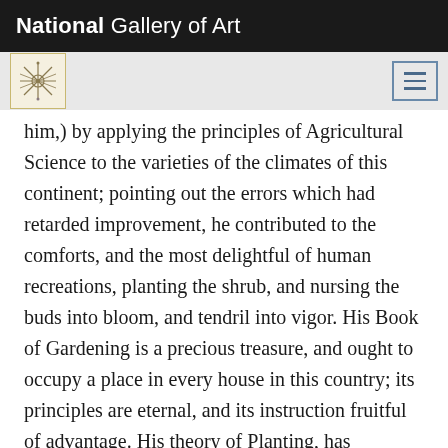National Gallery of Art
him,) by applying the principles of Agricultural Science to the varieties of the climates of this continent; pointing out the errors which had retarded improvement, he contributed to the comforts, and the most delightful of human recreations, planting the shrub, and nursing the buds into bloom, and tendril into vigor. His Book of Gardening is a precious treasure, and ought to occupy a place in every house in this country; its principles are eternal, and its instruction fruitful of advantage. His theory of Planting, has removed the difficulties heretofore deemed insurmountable in the production of Quickset hedges, from the white thorn—he urged